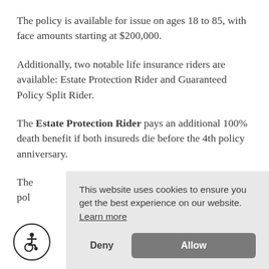The policy is available for issue on ages 18 to 85, with face amounts starting at $200,000.
Additionally, two notable life insurance riders are available: Estate Protection Rider and Guaranteed Policy Split Rider.
The Estate Protection Rider pays an additional 100% death benefit if both insureds die before the 4th policy anniversary.
The [partially obscured] pol[icy split rider...]
This website uses cookies to ensure you get the best experience on our website. Learn more
Deny
Allow